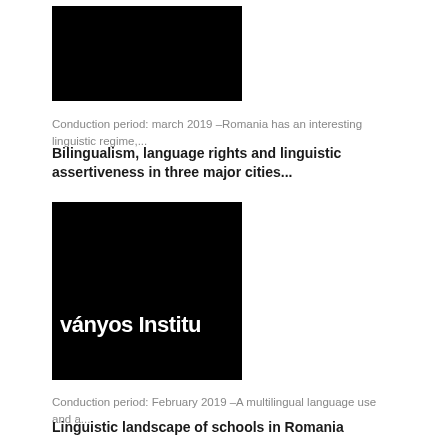[Figure (photo): Black rectangle thumbnail image for first article]
Conduction period: march 2019 –Romania has an interesting linguistic regime,...
Bilingualism, language rights and linguistic assertiveness in three major cities...
[Figure (logo): Black image with white text reading 'ványos Institu' — partial logo of an institute]
Conduction period: February 2019 –A multilingual language use and a...
Linguistic landscape of schools in Romania